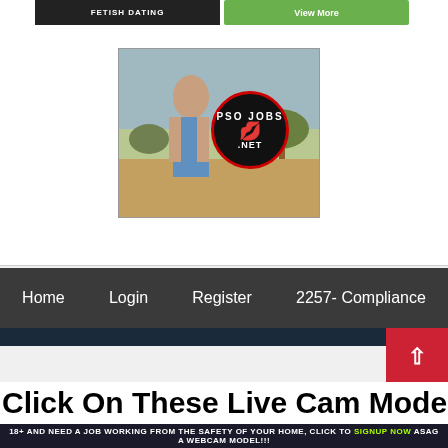[Figure (photo): Top ad banners — left dark banner with 'FETISH DATING' text, right green 'View More' button banner]
[Figure (photo): PSO Jobs .NET advertisement image — woman posing outdoors with PSO Jobs logo circle overlay and text 'Make $2000+ Weekly Working Part-time Join Now']
Home    Login    Register    2257- Compliance
Click On These Live Cam Models Below
18+ AND NEED A JOB WORKING FROM THE SAFETY OF YOUR HOME, CLICK TO SIGNUP NOW ASAG A WEBCAM MODEL!!!